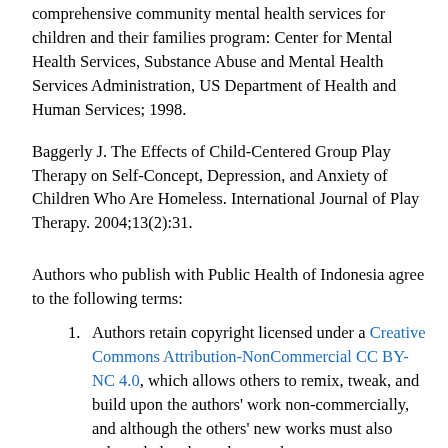comprehensive community mental health services for children and their families program: Center for Mental Health Services, Substance Abuse and Mental Health Services Administration, US Department of Health and Human Services; 1998.
Baggerly J. The Effects of Child-Centered Group Play Therapy on Self-Concept, Depression, and Anxiety of Children Who Are Homeless. International Journal of Play Therapy. 2004;13(2):31.
Authors who publish with Public Health of Indonesia agree to the following terms:
Authors retain copyright licensed under a Creative Commons Attribution-NonCommercial CC BY-NC 4.0, which allows others to remix, tweak, and build upon the authors' work non-commercially, and although the others' new works must also acknowledge the authors and